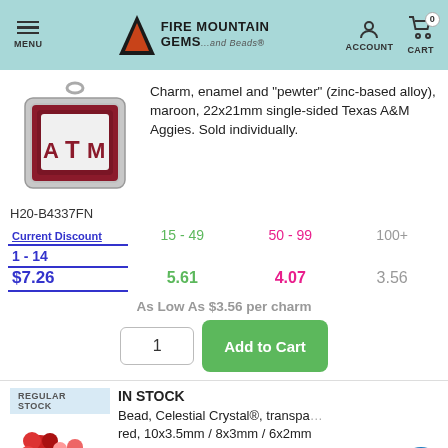MENU | FIRE MOUNTAIN GEMS and Beads | ACCOUNT | CART 0
[Figure (photo): Texas A&M Aggies ATM logo charm, maroon enamel and pewter, single-sided]
Charm, enamel and "pewter" (zinc-based alloy), maroon, 22x21mm single-sided Texas A&M Aggies. Sold individually.
H20-B4337FN
| Current Discount | 15 - 49 | 50 - 99 | 100+ |
| --- | --- | --- | --- |
| 1 - 14 | 15 - 49 | 50 - 99 | 100+ |
| $7.26 | 5.61 | 4.07 | 3.56 |
As Low As $3.56 per charm
IN STOCK
Bead, Celestial Crystal®, transparent red, 10x3.5mm / 8x3mm / 6x2mm